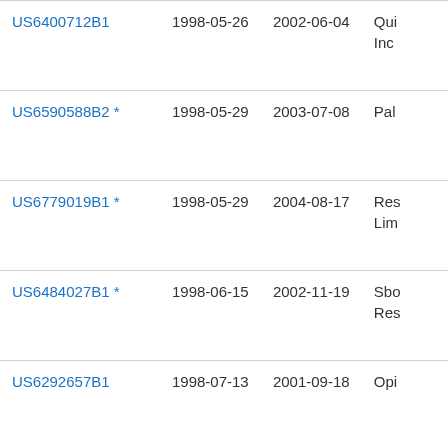| Patent ID | Filing Date | Publication Date | Assignee |
| --- | --- | --- | --- |
| US6400712B1 | 1998-05-26 | 2002-06-04 | Qui
Inc |
| US6590588B2 * | 1998-05-29 | 2003-07-08 | Pal |
| US6779019B1 * | 1998-05-29 | 2004-08-17 | Res
Lim |
| US6484027B1 * | 1998-06-15 | 2002-11-19 | Sbo
Res |
| US6292657B1 | 1998-07-13 | 2001-09-18 | Opi |